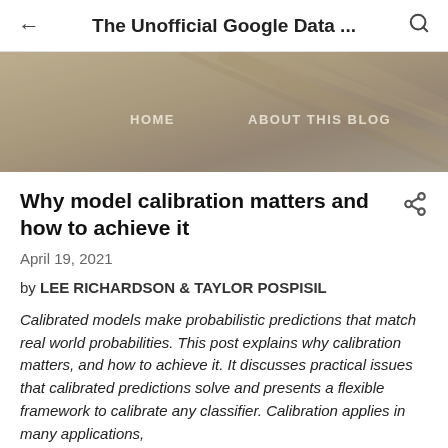The Unofficial Google Data ...
[Figure (photo): Banner/hero image of a blog with tan/beige textured background, containing navigation links HOME and ABOUT THIS BLOG]
Why model calibration matters and how to achieve it
April 19, 2021
by LEE RICHARDSON & TAYLOR POSPISIL
Calibrated models make probabilistic predictions that match real world probabilities. This post explains why calibration matters, and how to achieve it. It discusses practical issues that calibrated predictions solve and presents a flexible framework to calibrate any classifier. Calibration applies in many applications,